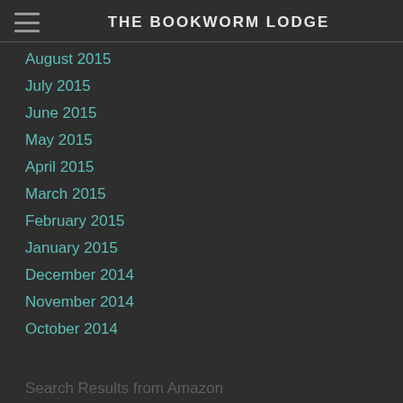THE BOOKWORM LODGE
August 2015
July 2015
June 2015
May 2015
April 2015
March 2015
February 2015
January 2015
December 2014
November 2014
October 2014
Search Results from Amazon